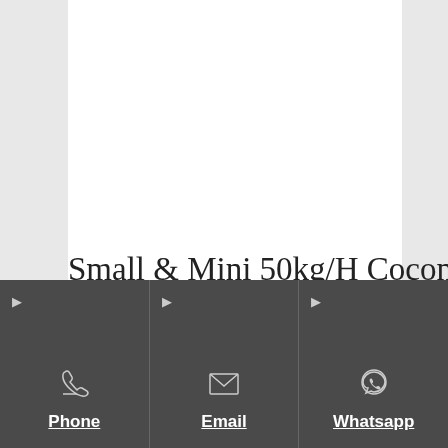Small & Mini 50kg/H Coconut Mustard Oil Mill Press Machine
China Small & Mini 50kg/H Coconut Mustard Oil Mill Press Machine, Find details about China Oil Expeller, Oil Press Machine from Small & Mini
Phone | Email | Whatsapp